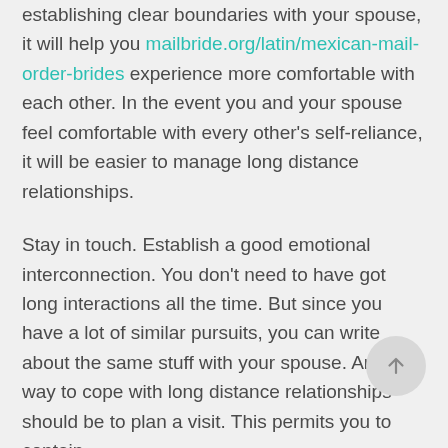establishing clear boundaries with your spouse, it will help you mailbride.org/latin/mexican-mail-order-brides experience more comfortable with each other. In the event you and your spouse feel comfortable with every other's self-reliance, it will be easier to manage long distance relationships.
Stay in touch. Establish a good emotional interconnection. You don't need to have got long interactions all the time. But since you have a lot of similar pursuits, you can write about the same stuff with your spouse. Another way to cope with long distance relationships should be to plan a visit. This permits you to contain